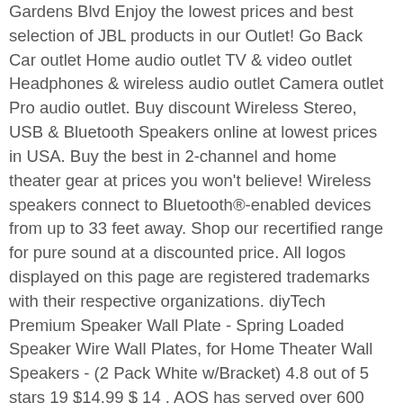Gardens Blvd Enjoy the lowest prices and best selection of JBL products in our Outlet! Go Back Car outlet Home audio outlet TV & video outlet Headphones & wireless audio outlet Camera outlet Pro audio outlet. Buy discount Wireless Stereo, USB & Bluetooth Speakers online at lowest prices in USA. Buy the best in 2-channel and home theater gear at prices you won't believe! Wireless speakers connect to Bluetooth®-enabled devices from up to 33 feet away. Shop our recertified range for pure sound at a discounted price. All logos displayed on this page are registered trademarks with their respective organizations. diyTech Premium Speaker Wall Plate - Spring Loaded Speaker Wire Wall Plates, for Home Theater Wall Speakers - (2 Pack White w/Bracket) 4.8 out of 5 stars 19 $14.99 $ 14 . AOS has served over 600 customers worldwide. Here you can save hundreds of dollars and get the finest quality sound available anywhere. News & Events. We are Arizona's only hi-performance audio dealer specializing in tube audio equipment. For customers with special needs, we have provided a customer support phone number reachable 24 hours a day, 7 days a week, 365 days a